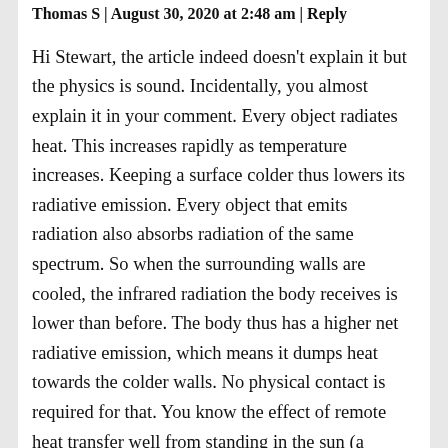Thomas S | August 30, 2020 at 2:48 am | Reply
Hi Stewart, the article indeed doesn't explain it but the physics is sound. Incidentally, you almost explain it in your comment. Every object radiates heat. This increases rapidly as temperature increases. Keeping a surface colder thus lowers its radiative emission. Every object that emits radiation also absorbs radiation of the same spectrum. So when the surrounding walls are cooled, the infrared radiation the body receives is lower than before. The body thus has a higher net radiative emission, which means it dumps heat towards the colder walls. No physical contact is required for that. You know the effect of remote heat transfer well from standing in the sun (a